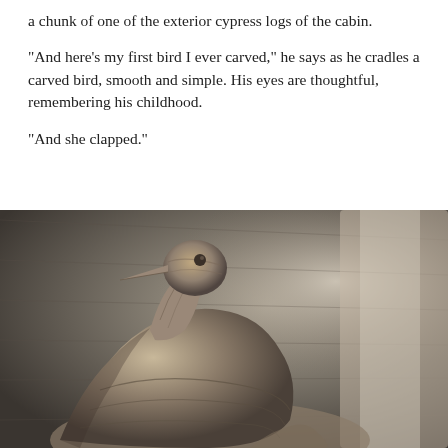a chunk of one of the exterior cypress logs of the cabin.
“And here’s my first bird I ever carved,” he says as he cradles a carved bird, smooth and simple. His eyes are thoughtful, remembering his childhood.
“And she clapped.”
[Figure (photo): Black and white close-up photograph of a smooth, polished wooden carved bird sculpture, resembling a heron or egret, with elegant curved grain lines. The bird is held in a hand, with soft background blur showing wood texture.]